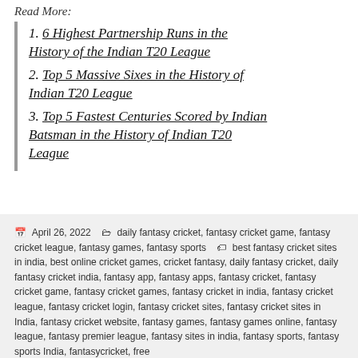Read More:
1. 6 Highest Partnership Runs in the History of the Indian T20 League
2. Top 5 Massive Sixes in the History of Indian T20 League
3. Top 5 Fastest Centuries Scored by Indian Batsman in the History of Indian T20 League
April 26, 2022   daily fantasy cricket, fantasy cricket game, fantasy cricket league, fantasy games, fantasy sports   best fantasy cricket sites in india, best online cricket games, cricket fantasy, daily fantasy cricket, daily fantasy cricket india, fantasy app, fantasy apps, fantasy cricket, fantasy cricket game, fantasy cricket games, fantasy cricket in india, fantasy cricket league, fantasy cricket login, fantasy cricket sites, fantasy cricket sites in India, fantasy cricket website, fantasy games, fantasy games online, fantasy league, fantasy premier league, fantasy sites in india, fantasy sports, fantasy sports India, fantasycricket, free